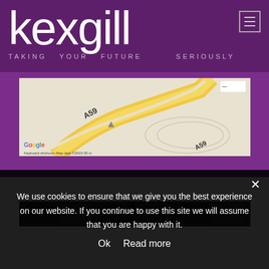[Figure (logo): Kexgill logo with tagline 'TAKING YOUR FUTURE SERIOUSLY' on purple background]
[Figure (screenshot): Google Maps embed showing a road labeled A59]
[Figure (photo): Partial photo strip visible below the map]
We use cookies to ensure that we give you the best experience on our website. If you continue to use this site we will assume that you are happy with it.
Ok   Read more